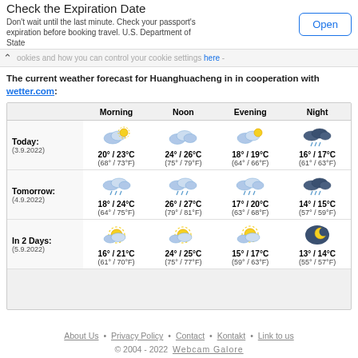Check the Expiration Date
Don't wait until the last minute. Check your passport's expiration before booking travel. U.S. Department of State
ookies and how you can control your cookie settings here -
The current weather forecast for Huanghuacheng in in cooperation with wetter.com:
|  | Morning | Noon | Evening | Night |
| --- | --- | --- | --- | --- |
| Today: (3.9.2022) | 20° / 23°C (68° / 73°F) | 24° / 26°C (75° / 79°F) | 18° / 19°C (64° / 66°F) | 16° / 17°C (61° / 63°F) |
| Tomorrow: (4.9.2022) | 18° / 24°C (64° / 75°F) | 26° / 27°C (79° / 81°F) | 17° / 20°C (63° / 68°F) | 14° / 15°C (57° / 59°F) |
| In 2 Days: (5.9.2022) | 16° / 21°C (61° / 70°F) | 24° / 25°C (75° / 77°F) | 15° / 17°C (59° / 63°F) | 13° / 14°C (55° / 57°F) |
About Us • Privacy Policy • Contact • Kontakt • Link to us
© 2004 - 2022  Webcam Galore